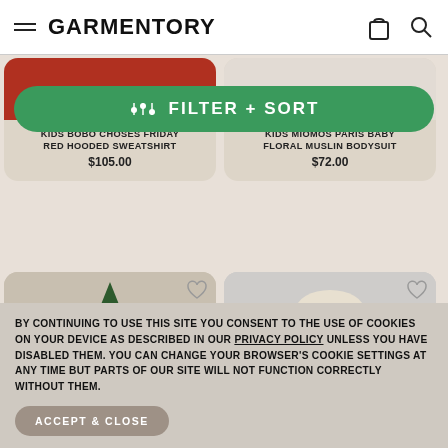GARMENTORY
FILTER + SORT
KIDS BOBO CHOSES FRIDAY RED HOODED SWEATSHIRT $105.00
KIDS MIOMOS PARIS BABY FLORAL MUSLIN BODYSUIT $72.00
[Figure (photo): Child in dark floral dress standing next to Christmas trees]
[Figure (photo): Child wearing green BOBO hoodie and white fur hat]
BY CONTINUING TO USE THIS SITE YOU CONSENT TO THE USE OF COOKIES ON YOUR DEVICE AS DESCRIBED IN OUR PRIVACY POLICY UNLESS YOU HAVE DISABLED THEM. YOU CAN CHANGE YOUR BROWSER'S COOKIE SETTINGS AT ANY TIME BUT PARTS OF OUR SITE WILL NOT FUNCTION CORRECTLY WITHOUT THEM.
ACCEPT & CLOSE